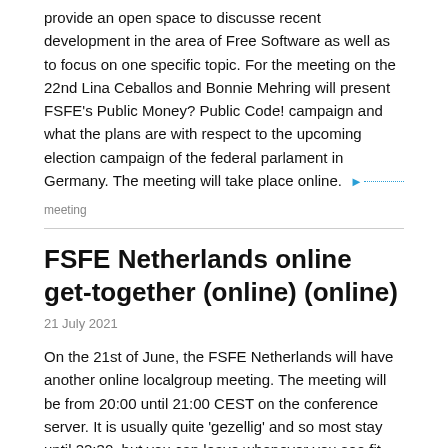provide an open space to discusse recent development in the area of Free Software as well as to focus on one specific topic. For the meeting on the 22nd Lina Ceballos and Bonnie Mehring will present FSFE's Public Money? Public Code! campaign and what the plans are with respect to the upcoming election campaign of the federal parlament in Germany. The meeting will take place online. ▶
meeting
FSFE Netherlands online get-together (online) (online)
21 July 2021
On the 21st of June, the FSFE Netherlands will have another online localgroup meeting. The meeting will be from 20:00 until 21:00 CEST on the conference server. It is usually quite 'gezellig' and so most stay until 22:30, but you can leave whenever you see fit. The meeting is open for everybody, and we'll switch to English if not everybody